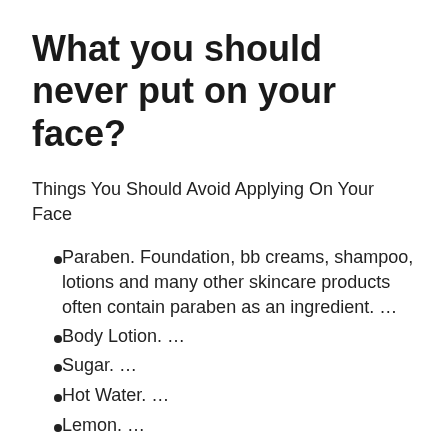What you should never put on your face?
Things You Should Avoid Applying On Your Face
Paraben. Foundation, bb creams, shampoo, lotions and many other skincare products often contain paraben as an ingredient. …
Body Lotion. …
Sugar. …
Hot Water. …
Lemon. …
Toothpaste. …
Baking Soda. …
Glue.